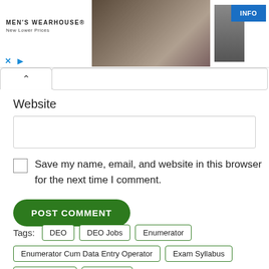[Figure (photo): Men's Wearhouse advertisement banner showing a couple in formal wear and a man in a suit, with an INFO button]
Website
Save my name, email, and website in this browser for the next time I comment.
POST COMMENT
Tags: DEO  DEO Jobs  Enumerator  Enumerator Cum Data Entry Operator  Exam Syllabus  Group C Jobs  Karnataka